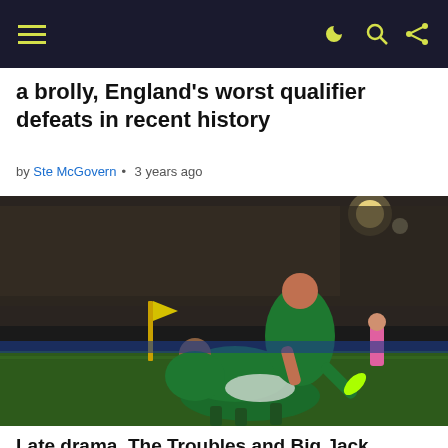Navigation bar with hamburger menu and icons
a brolly, England's worst qualifier defeats in recent history
by Ste McGovern • 3 years ago
[Figure (photo): Irish football players celebrating on the pitch, piling on each other near a corner flag in a stadium at night]
Late drama, The Troubles and Big Jack almost chinning Cascarino – Ireland's greatest 1-1